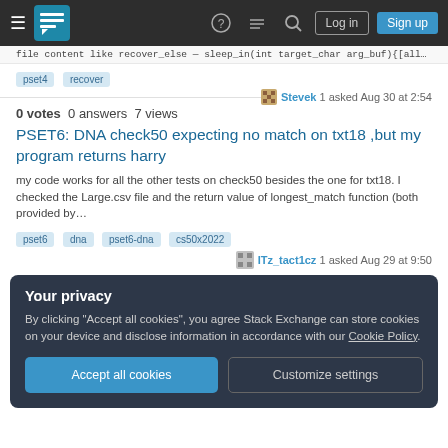Stack Exchange navigation bar with Log in and Sign up buttons
file content like recover_else — sleep_in(int target_char arg_buf){[allocate prop...
pset4  recover
Stevek 1 asked Aug 30 at 2:54
0 votes  0 answers  7 views
PSET6: DNA check50 expecting no match on txt18 ,but my program returns harry
my code works for all the other tests on check50 besides the one for txt18. I checked the Large.csv file and the return value of longest_match function (both provided by...
pset6  dna  pset6-dna  cs50x2022
ITz_tact1cz 1 asked Aug 29 at 9:50
Your privacy
By clicking "Accept all cookies", you agree Stack Exchange can store cookies on your device and disclose information in accordance with our Cookie Policy.
Accept all cookies
Customize settings